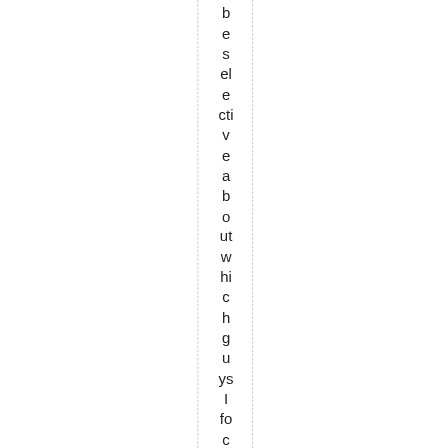be selective about which guys I focus my attention io